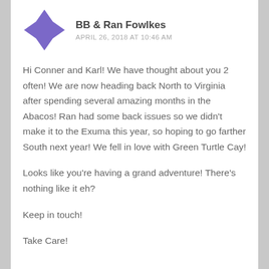[Figure (logo): Purple geometric avatar icon made of triangular shapes forming a pinwheel/compass rose pattern]
BB & Ran Fowlkes
APRIL 26, 2018 AT 10:46 AM
Hi Conner and Karl! We have thought about you 2 often! We are now heading back North to Virginia after spending several amazing months in the Abacos! Ran had some back issues so we didn’t make it to the Exuma this year, so hoping to go farther South next year! We fell in love with Green Turtle Cay!
Looks like you’re having a grand adventure! There’s nothing like it eh?
Keep in touch!
Take Care!